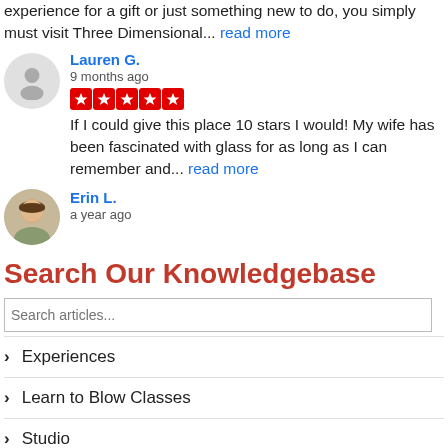experience for a gift or just something new to do, you simply must visit Three Dimensional... read more
Lauren G.
9 months ago
★★★★★ If I could give this place 10 stars I would! My wife has been fascinated with glass for as long as I can remember and... read more
Erin L.
a year ago
Search Our Knowledgebase
Experiences
Learn to Blow Classes
Studio